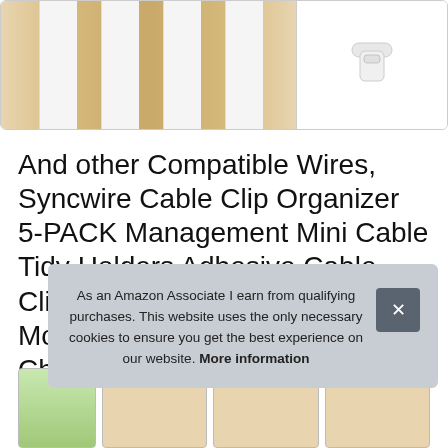[Figure (photo): Product image strip showing white cable clip organizers mounted on a wooden surface, with a small transparent clip icon on the right side]
And other Compatible Wires, Syncwire Cable Clip Organizer 5-PACK Management Mini Cable Tidy Holders Adhesive Cable Clip Holders for Power Cords, Mouse Cables, Transparent, Charging Cables
[Figure (photo): Bottom thumbnail row showing product image with green leaves and additional product thumbnails]
As an Amazon Associate I earn from qualifying purchases. This website uses the only necessary cookies to ensure you get the best experience on our website. More information